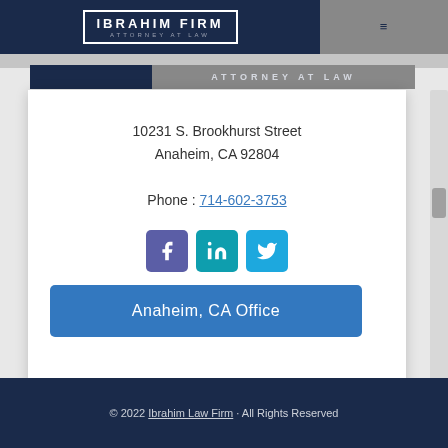IBRAHIM FIRM ATTORNEY AT LAW
[Figure (logo): Ibrahim Firm Attorney at Law logo with white text on dark navy background]
ATTORNEY AT LAW
10231 S. Brookhurst Street
Anaheim, CA 92804
Phone : 714-602-3753
[Figure (illustration): Social media icons: Facebook (purple), LinkedIn (teal), Twitter (light blue)]
Anaheim, CA Office
© 2022 Ibrahim Law Firm · All Rights Reserved